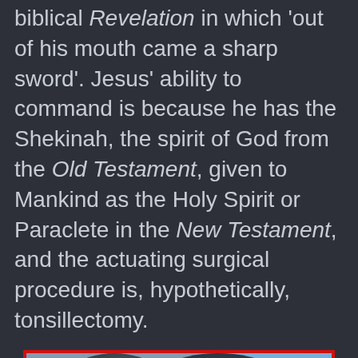biblical Revelation in which 'out of his mouth came a sharp sword'. Jesus' ability to command is because he has the Shekinah, the spirit of God from the Old Testament, given to Mankind as the Holy Spirit or Paraclete in the New Testament, and the actuating surgical procedure is, hypothetically, tonsillectomy.
[Figure (photo): Photograph with red border showing the Twin Towers on 9/11 with heavy dark smoke billowing from the buildings against a blue sky]